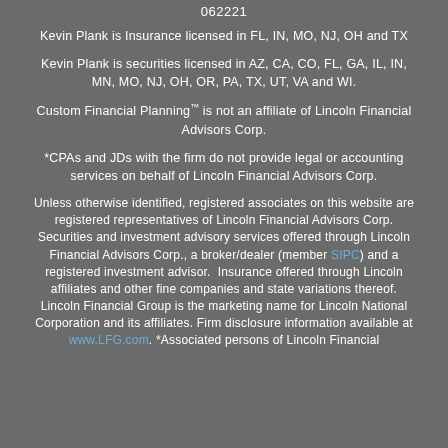062221
Kevin Plank is Insurance licensed in FL, IN, MO, NJ, OH and TX
Kevin Plank is securities licensed in AZ, CA, CO, FL, GA, IL, IN, MN, MO, NJ, OH, OR, PA, TX, UT, VA and WI.
Custom Financial Planning™ is not an affiliate of Lincoln Financial Advisors Corp.
*CPAs and JDs with the firm do not provide legal or accounting services on behalf of Lincoln Financial Advisors Corp.
Unless otherwise identified, registered associates on this website are registered representatives of Lincoln Financial Advisors Corp. Securities and investment advisory services offered through Lincoln Financial Advisors Corp., a broker/dealer (member SIPC) and a registered investment advisor.  Insurance offered through Lincoln affiliates and other fine companies and state variations thereof. Lincoln Financial Group is the marketing name for Lincoln National Corporation and its affiliates. Firm disclosure information available at www.LFG.com. *Associated persons of Lincoln Financial